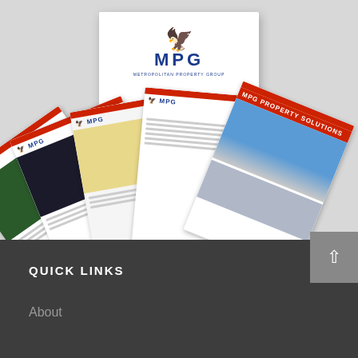[Figure (photo): Photo mockup showing MPG branded materials: a white folder/binder standing upright with the MPG eagle logo and company name, surrounded by a fan of branded brochures and documents with red accent bars and building photography]
QUICK LINKS
About